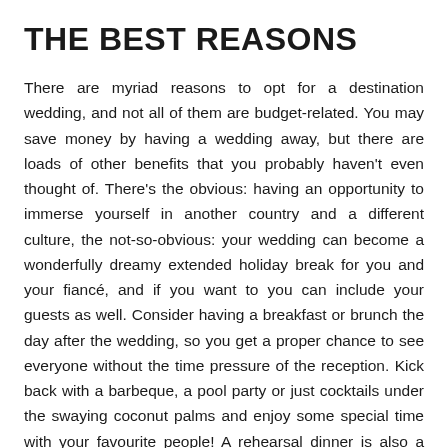THE BEST REASONS
There are myriad reasons to opt for a destination wedding, and not all of them are budget-related. You may save money by having a wedding away, but there are loads of other benefits that you probably haven't even thought of. There's the obvious: having an opportunity to immerse yourself in another country and a different culture, the not-so-obvious: your wedding can become a wonderfully dreamy extended holiday break for you and your fiancé, and if you want to you can include your guests as well. Consider having a breakfast or brunch the day after the wedding, so you get a proper chance to see everyone without the time pressure of the reception. Kick back with a barbeque, a pool party or just cocktails under the swaying coconut palms and enjoy some special time with your favourite people! A rehearsal dinner is also a great way for you and your partner's families to get to know one another